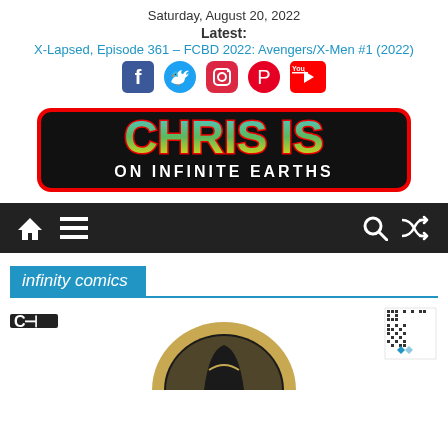Saturday, August 20, 2022
Latest:
X-Lapsed, Episode 361 – FCBD 2022: Avengers/X-Men #1 (2022)
[Figure (logo): Social media icons: Facebook, Twitter, Instagram, Pinterest, YouTube]
[Figure (logo): Chris is on Infinite Earths logo - colorful comic-style text]
[Figure (infographic): Dark navigation bar with home icon, hamburger menu, search icon, and random/shuffle icon]
infinity comics
[Figure (photo): Comic book preview image showing a circular black and gold comic panel, with a CT logo top left and a QR code top right]